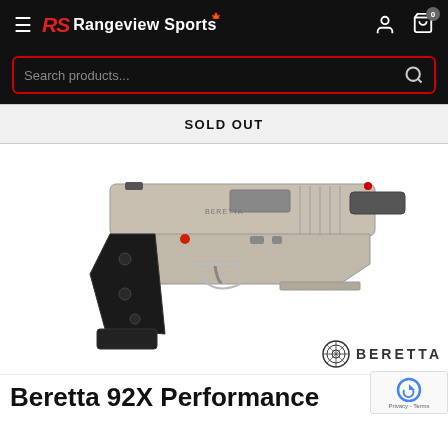Rangeview Sports
Search products...
SOLD OUT
[Figure (photo): Beretta 92X Performance pistol, silver/nickel finish with black grip, shown in profile view facing right. Beretta logo visible bottom right.]
Beretta 92X Performance